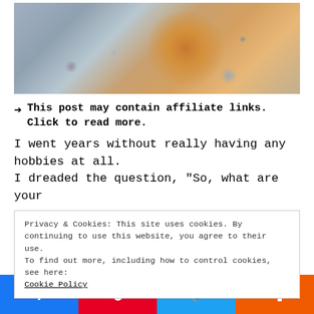[Figure (photo): Photo of a heart-shaped orange/brown rock or cookie surrounded by small grey and white pebbles on a beach or gravel surface]
→ This post may contain affiliate links. Click to read more.
I went years without really having any hobbies at all. I dreaded the question, "So, what are your
Privacy & Cookies: This site uses cookies. By continuing to use this website, you agree to their use.
To find out more, including how to control cookies, see here:
Cookie Policy
Facebook | Pinterest | Twitter | Mix share buttons